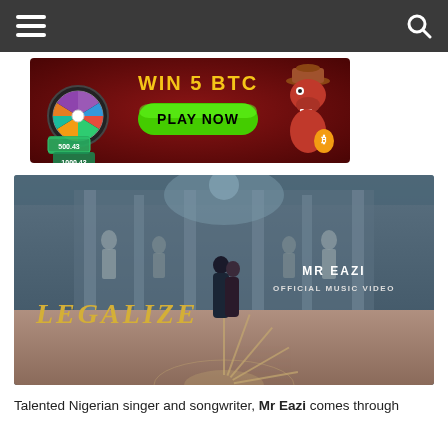Navigation bar with hamburger menu and search icon
[Figure (photo): Online casino advertisement banner: 'WIN 5 BTC' in yellow text, 'PLAY NOW' green button, slot machine wheel on left, cartoon crocodile character on right, dark red background]
[Figure (photo): Music video thumbnail for 'LEGALIZE' by MR EAZI - Official Music Video. Shows a couple embracing in a grand hall with classical statues and ornate architecture, decorative sunburst floor pattern. 'LEGALIZE' in gold italic text on left, 'MR EAZI OFFICIAL MUSIC VIDEO' in white text on right.]
Talented Nigerian singer and songwriter, Mr Eazi comes through